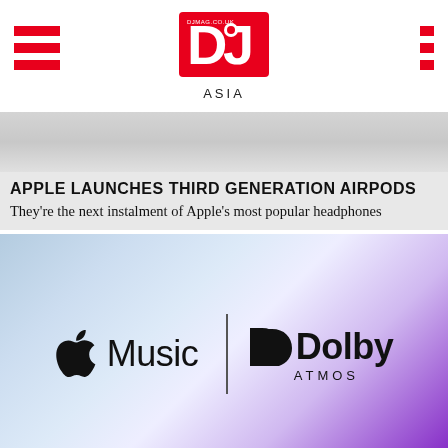DJ Magazine Asia
APPLE LAUNCHES THIRD GENERATION AIRPODS
They're the next instalment of Apple's most popular headphones
[Figure (logo): Apple Music and Dolby Atmos logos side by side with a vertical divider]